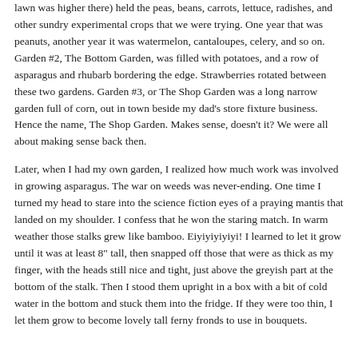lawn was higher there) held the peas, beans, carrots, lettuce, radishes, and other sundry experimental crops that we were trying. One year that was peanuts, another year it was watermelon, cantaloupes, celery, and so on. Garden #2, The Bottom Garden, was filled with potatoes, and a row of asparagus and rhubarb bordering the edge. Strawberries rotated between these two gardens. Garden #3, or The Shop Garden was a long narrow garden full of corn, out in town beside my dad's store fixture business. Hence the name, The Shop Garden. Makes sense, doesn't it? We were all about making sense back then.
Later, when I had my own garden, I realized how much work was involved in growing asparagus. The war on weeds was never-ending. One time I turned my head to stare into the science fiction eyes of a praying mantis that landed on my shoulder. I confess that he won the staring match. In warm weather those stalks grew like bamboo. Eiyiyiyiyiyi! I learned to let it grow until it was at least 8" tall, then snapped off those that were as thick as my finger, with the heads still nice and tight, just above the greyish part at the bottom of the stalk. Then I stood them upright in a box with a bit of cold water in the bottom and stuck them into the fridge. If they were too thin, I let them grow to become lovely tall ferny fronds to use in bouquets.